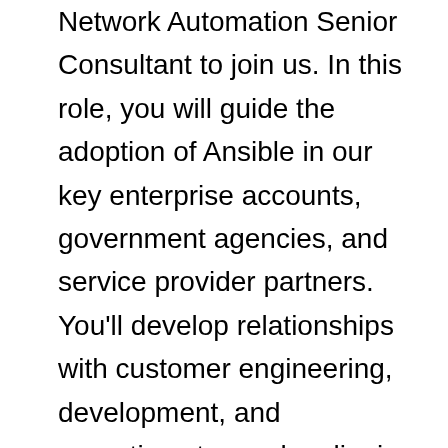Network Automation Senior Consultant to join us. In this role, you will guide the adoption of Ansible in our key enterprise accounts, government agencies, and service provider partners. You'll develop relationships with customer engineering, development, and operations teams by aligning their requirements and use cases with the functional capabilities of our solutions. We'll need you to have a thorough working knowledge and practical experience with Ansible, as well as familiarity with Chef, Puppet, and Salt. As a Network Automation Senior Consultant, you will bring an understanding of network device automation and methodologies, tools, and how they can be applied within an organization. You'll bring together cross-functional teams working on Red Hat solutions to meet the needs of our most demanding customers. We'll need you to act as the customer's advocate to find the right solutions, and to ensure those